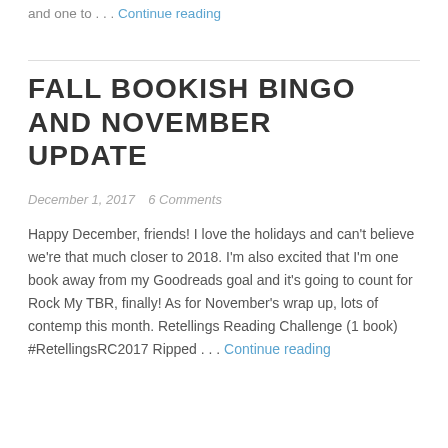and one to . . . Continue reading
FALL BOOKISH BINGO AND NOVEMBER UPDATE
December 1, 2017   6 Comments
Happy December, friends! I love the holidays and can't believe we're that much closer to 2018. I'm also excited that I'm one book away from my Goodreads goal and it's going to count for Rock My TBR, finally! As for November's wrap up, lots of contemp this month. Retellings Reading Challenge (1 book) #RetellingsRC2017 Ripped . . . Continue reading